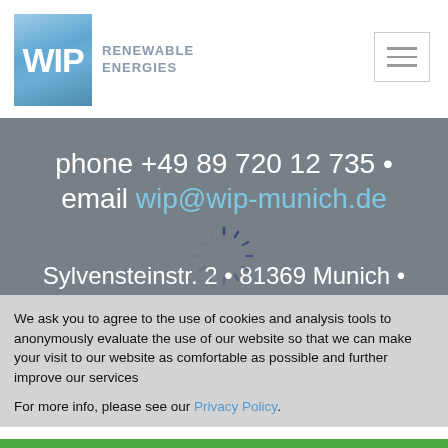[Figure (logo): WIP Renewable Energies logo: blue square with white WIP text, followed by 'RENEWABLE ENERGIES' in grey]
[Figure (other): Hamburger menu icon (three horizontal lines) in a bordered square box]
phone +49 89 720 12 735 • email wip@wip-munich.de
Sylvensteinstr. 2 • 81369 Munich • Germany
[Figure (other): Loading spinner animation overlay]
We ask you to agree to the use of cookies and analysis tools to anonymously evaluate the use of our website so that we can make your visit to our website as comfortable as possible and further improve our services
For more info, please see our Privacy Policy.